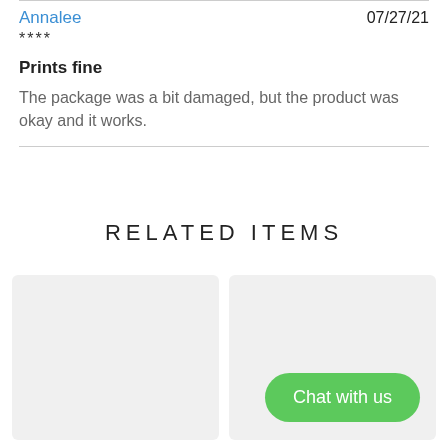Annalee   07/27/21
****
Prints fine
The package was a bit damaged, but the product was okay and it works.
RELATED ITEMS
[Figure (other): Two placeholder product image cards side by side with a green 'Chat with us' button on the right card]